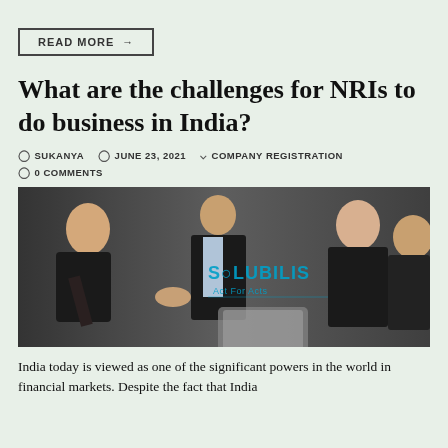READ MORE →
What are the challenges for NRIs to do business in India?
SUKANYA   JUNE 23, 2021   COMPANY REGISTRATION   0 COMMENTS
[Figure (photo): Business professionals shaking hands in a meeting setting with a Solubilis logo watermark overlay reading 'Act For Acts']
India today is viewed as one of the significant powers in the world in financial markets. Despite the fact that India...